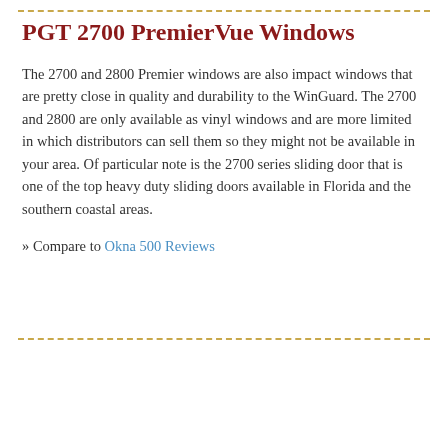PGT 2700 PremierVue Windows
The 2700 and 2800 Premier windows are also impact windows that are pretty close in quality and durability to the WinGuard. The 2700 and 2800 are only available as vinyl windows and are more limited in which distributors can sell them so they might not be available in your area. Of particular note is the 2700 series sliding door that is one of the top heavy duty sliding doors available in Florida and the southern coastal areas.
» Compare to Okna 500 Reviews